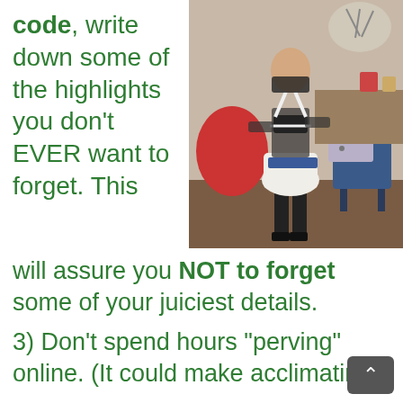code, write down some of the highlights you don't EVER want to forget. This will assure you NOT to forget some of your juiciest details.
[Figure (photo): A person standing in a room wearing a white skirt, black top, and harness-style straps, with a blue chair and various items in the background.]
3) Don't spend hours "perving" online. (It could make acclimating